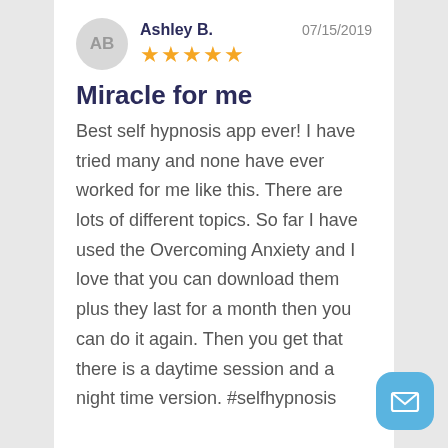AB — Ashley B. — 07/15/2019 — ★★★★★
Miracle for me
Best self hypnosis app ever! I have tried many and none have ever worked for me like this. There are lots of different topics. So far I have used the Overcoming Anxiety and I love that you can download them plus they last for a month then you can do it again. Then you get that there is a daytime session and a night time version. #selfhypnosis
[Figure (illustration): Blue rounded square button with a white mail/envelope icon]